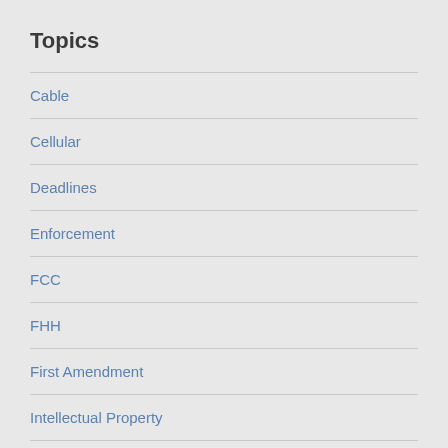Topics
Cable
Cellular
Deadlines
Enforcement
FCC
FHH
First Amendment
Intellectual Property
Internet
Litigation
Media
Privacy